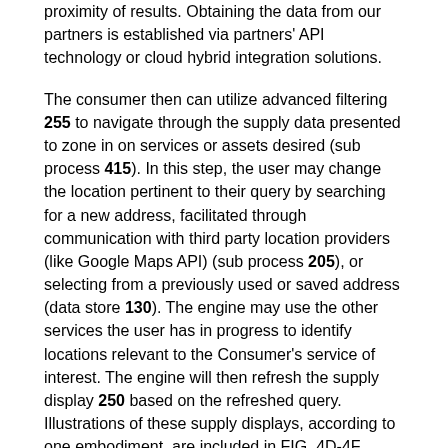proximity of results. Obtaining the data from our partners is established via partners' API technology or cloud hybrid integration solutions.
The consumer then can utilize advanced filtering 255 to navigate through the supply data presented to zone in on services or assets desired (sub process 415). In this step, the user may change the location pertinent to their query by searching for a new address, facilitated through communication with third party location providers (like Google Maps API) (sub process 205), or selecting from a previously used or saved address (data store 130). The engine may use the other services the user has in progress to identify locations relevant to the Consumer's service of interest. The engine will then refresh the supply display 250 based on the refreshed query. Illustrations of these supply displays, according to one embodiment, are included in FIG. 4D-4F.
In one example, in the food delivery category, the system displays merchants sorted by cuisine. The system presents the Consumer a list of cuisines available in the Consumer's location, and within each cuisine, the available merchants are listed. The cuisines are ordered by the